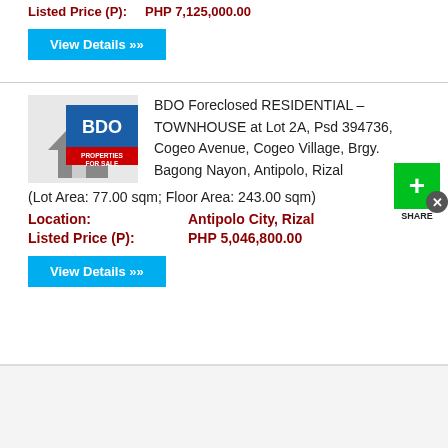Listed Price (P):    PHP 7,125,000.00
View Details »»
BDO Foreclosed RESIDENTIAL – TOWNHOUSE at Lot 2A, Psd 394736, Cogeo Avenue, Cogeo Village, Brgy. Bagong Nayon, Antipolo, Rizal (Lot Area: 77.00 sqm; Floor Area: 243.00 sqm)
Location:    Antipolo City, Rizal
Listed Price (P):    PHP 5,046,800.00
View Details »»